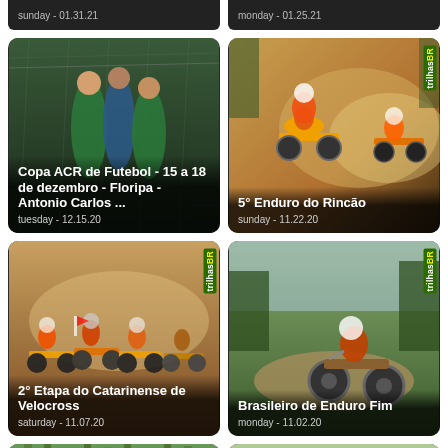sunday - 01.31.21
monday - 01.25.21
[Figure (photo): Football players in green jerseys competing in the rain]
Copa ACR de Futebol - 15 a 18 de dezembro - Floripa - Antonio Carlos ...
tuesday - 12.15.20
[Figure (photo): Motocross riders on dirt trail with dust cloud, TrilhasBR logo]
5° Enduro do Rincão
sunday - 11.22.20
[Figure (photo): Group of motocross riders racing on dusty track, TrilhasBR logo]
2° Etapa do Catarinense de Velocross
saturday - 11.07.20
[Figure (photo): Enduro bike rider in forest, TrilhasBR logo]
Brasileiro de Enduro Fim
monday - 11.02.20
[Figure (photo): Forest trail photo, TrilhasBR logo]
[Figure (photo): Outdoor motocross scene, TrilhasBR logo]